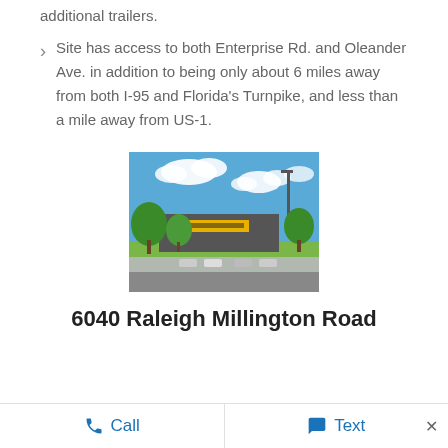additional trailers.
Site has access to both Enterprise Rd. and Oleander Ave. in addition to being only about 6 miles away from both I-95 and Florida's Turnpike, and less than a mile away from US-1.
[Figure (photo): Exterior photo of a commercial/retail building with parking lot, trees, and blue sky with clouds]
6040 Raleigh Millington Road
Call   Text   ×